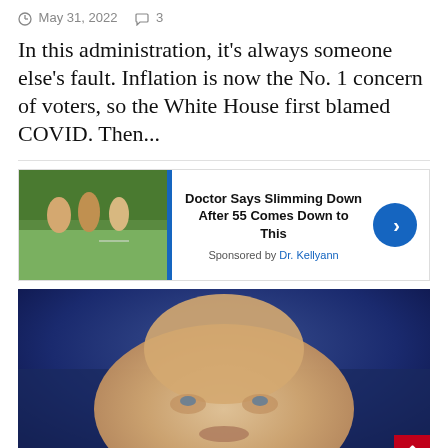May 31, 2022   3
In this administration, it's always someone else's fault. Inflation is now the No. 1 concern of voters, so the White House first blamed COVID. Then...
[Figure (photo): Advertisement: Doctor Says Slimming Down After 55 Comes Down to This. Sponsored by Dr. Kellyann. Shows people walking outdoors.]
[Figure (photo): Close-up photograph of President Biden's face against a blue background.]